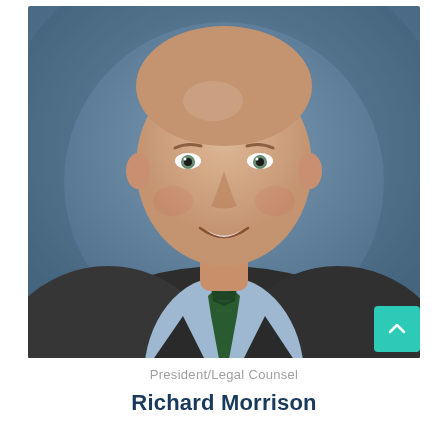[Figure (photo): Professional headshot of Richard Morrison, a middle-aged man with a shaved head, wearing a dark charcoal suit, light blue dress shirt, and dark green tie, photographed against a blue-grey studio background.]
President/Legal Counsel
Richard Morrison